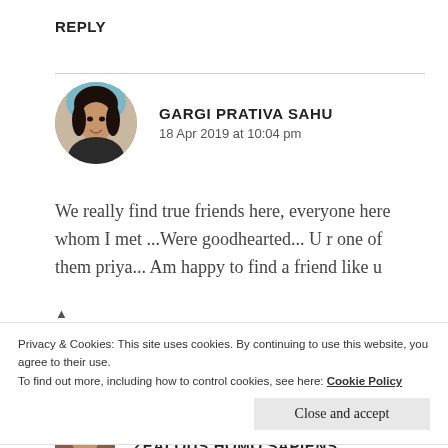REPLY
[Figure (photo): Circular profile photo of Gargi Prativa Sahu, a young woman]
GARGI PRATIVA SAHU
18 Apr 2019 at 10:04 pm
We really find true friends here, everyone here whom I met ...Were goodhearted... U r one of them priya... Am happy to find a friend like u
Privacy & Cookies: This site uses cookies. By continuing to use this website, you agree to their use.
To find out more, including how to control cookies, see here: Cookie Policy
Close and accept
ZEALOUS HOMO SAPIENS